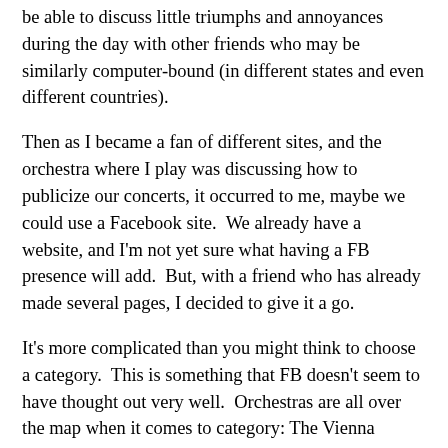be able to discuss little triumphs and annoyances during the day with other friends who may be similarly computer-bound (in different states and even different countries).
Then as I became a fan of different sites, and the orchestra where I play was discussing how to publicize our concerts, it occurred to me, maybe we could use a Facebook site.  We already have a website, and I'm not yet sure what having a FB presence will add.  But, with a friend who has already made several pages, I decided to give it a go.
It's more complicated than you might think to choose a category.  This is something that FB doesn't seem to have thought out very well.  Orchestras are all over the map when it comes to category: The Vienna Philharmonic is an "Other business."  The Brooklyn Philharmonic is a "non-profit."  There is an interesting guide to Facebook pages for non-profits available here.  The Lexington Philharmonic is a "Musician."  The Erie Philharmonic is an "Other Public Figure."  And once you've made the page, you can't change (we are an "Other Business" in Arlington).  There's also the issue